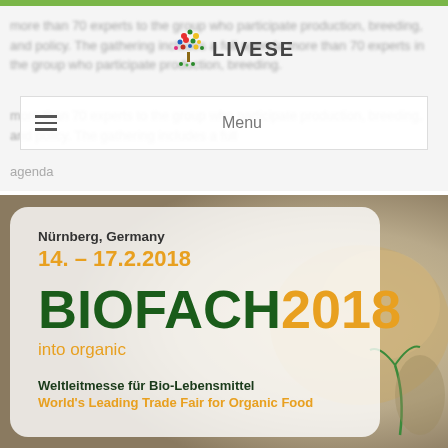[Figure (logo): Liveseed logo with colorful tree/flower icon and LIVESEED text]
Menu
more than 70 experts to the group who participate production, breeding, and policy. The gathering includes a full agenda
[Figure (photo): Biofach 2018 trade fair promotional banner showing: Nürnberg, Germany, 14. – 17.2.2018, BIOFACH2018, into organic, Weltleitmesse für Bio-Lebensmittel, World's Leading Trade Fair for Organic Food. Background shows organic food imagery.]